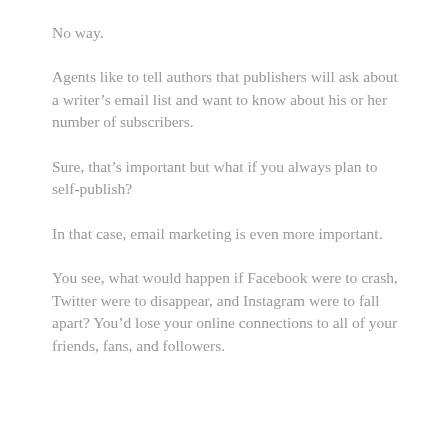No way.
Agents like to tell authors that publishers will ask about a writer’s email list and want to know about his or her number of subscribers.
Sure, that’s important but what if you always plan to self-publish?
In that case, email marketing is even more important.
You see, what would happen if Facebook were to crash, Twitter were to disappear, and Instagram were to fall apart? You’d lose your online connections to all of your friends, fans, and followers.